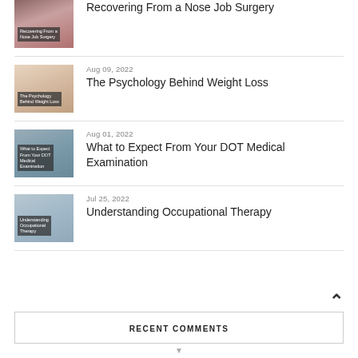Recovering From a Nose Job Surgery
Aug 09, 2022
The Psychology Behind Weight Loss
Aug 01, 2022
What to Expect From Your DOT Medical Examination
Jul 25, 2022
Understanding Occupational Therapy
RECENT COMMENTS